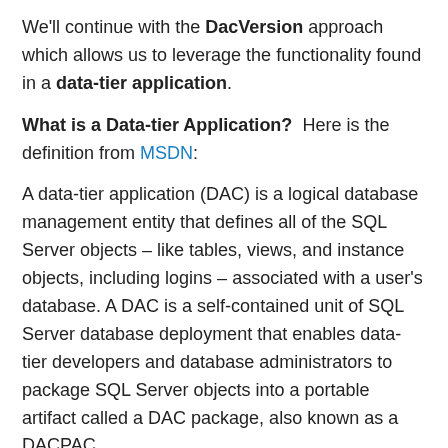We'll continue with the DacVersion approach which allows us to leverage the functionality found in a data-tier application.
What is a Data-tier Application?  Here is the definition from MSDN:
A data-tier application (DAC) is a logical database management entity that defines all of the SQL Server objects – like tables, views, and instance objects, including logins – associated with a user's database. A DAC is a self-contained unit of SQL Server database deployment that enables data-tier developers and database administrators to package SQL Server objects into a portable artifact called a DAC package, also known as a DACPAC.
I am going to tweak the ApplyVersionToAssemblies.ps1